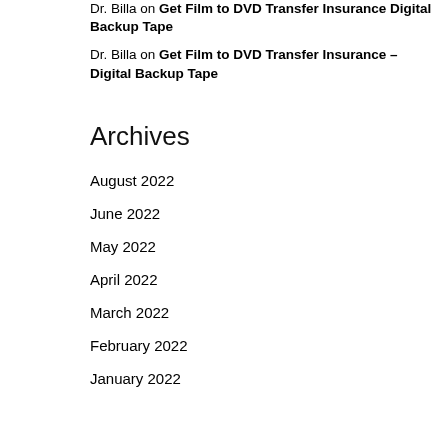Dr. Billa on Get Film to DVD Transfer Insurance Digital Backup Tape
Dr. Billa on Get Film to DVD Transfer Insurance – Digital Backup Tape
Archives
August 2022
June 2022
May 2022
April 2022
March 2022
February 2022
January 2022